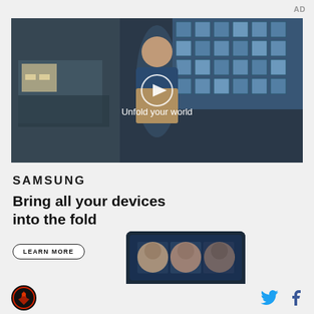AD
[Figure (screenshot): Samsung video ad showing a young man in a denim jacket walking through a cafeteria with a play button overlay and text 'Unfold your world']
SAMSUNG
Bring all your devices into the fold
LEARN MORE
[Figure (screenshot): Samsung phone screen showing a video call with three people's faces]
[Figure (logo): Sports team logo - red hawk emblem on black circular background]